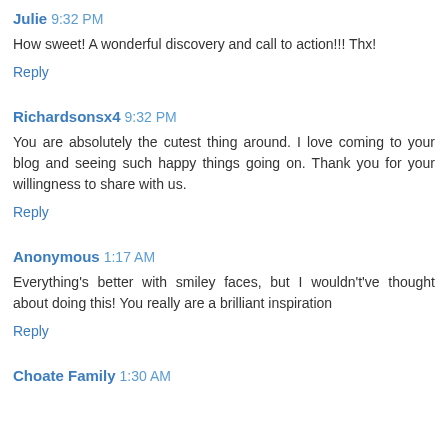Julie 9:32 PM
How sweet! A wonderful discovery and call to action!!! Thx!
Reply
Richardsonsx4 9:32 PM
You are absolutely the cutest thing around. I love coming to your blog and seeing such happy things going on. Thank you for your willingness to share with us.
Reply
Anonymous 1:17 AM
Everything's better with smiley faces, but I wouldn't've thought about doing this! You really are a brilliant inspiration
Reply
Choate Family 1:30 AM